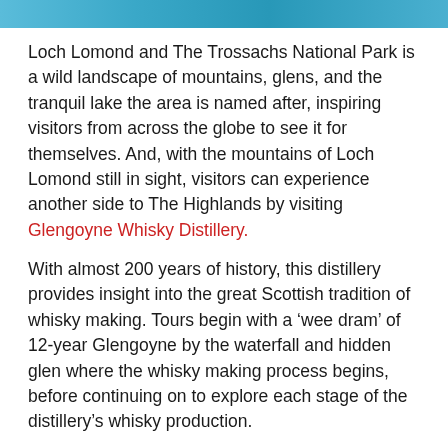[Figure (photo): Top portion of a photo showing water or sky, partially cropped at the top of the page]
Loch Lomond and The Trossachs National Park is a wild landscape of mountains, glens, and the tranquil lake the area is named after, inspiring visitors from across the globe to see it for themselves. And, with the mountains of Loch Lomond still in sight, visitors can experience another side to The Highlands by visiting Glengoyne Whisky Distillery.
With almost 200 years of history, this distillery provides insight into the great Scottish tradition of whisky making. Tours begin with a ‘wee dram’ of 12-year Glengoyne by the waterfall and hidden glen where the whisky making process begins, before continuing on to explore each stage of the distillery’s whisky production.
Get a taste for whisky in Scotland on Best of Scotland, Scottish Highlands, Islands and Cities, Best of Ireland and Scotland and Amazing Britain.